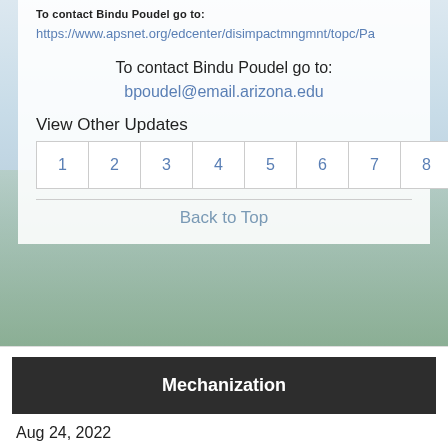https://www.apsnet.org/edcenter/disimpactmngmnt/topc/Pa
To contact Bindu Poudel go to:
bpoudel@email.arizona.edu
View Other Updates
1 2 3 4 5 6 7 8 9 10 »
Back to Top
Mechanization
Aug 24, 2022